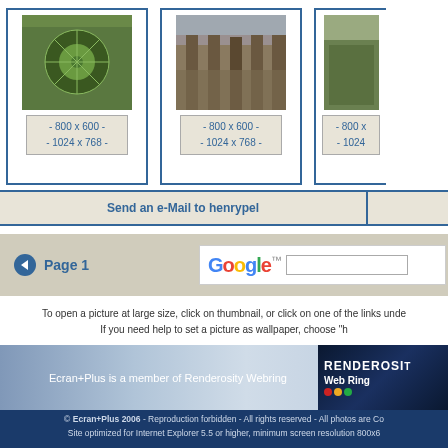[Figure (photo): Thumbnail of garden viewed from above with circular pattern]
- 800 x 600 -
- 1024 x 768 -
[Figure (photo): Thumbnail of stone path/ruins walkway]
- 800 x 600 -
- 1024 x 768 -
[Figure (photo): Partial thumbnail of outdoor scene]
- 800 x 600 -
- 1024 x 768 -
Send an e-Mail to henrypel
Page 1
[Figure (logo): Google logo with search input box]
To open a picture at large size, click on thumbnail, or click on one of the links unde
If you need help to set a picture as wallpaper, choose "h
Ecran+Plus is a member of Renderosity Webring
[Figure (logo): Renderosity Web Ring banner logo]
© Ecran+Plus 2006 - Reproduction forbidden - All rights reserved - All photos are Co
Site optimized for Internet Explorer 5.5 or higher, minimum screen resolution 800x6